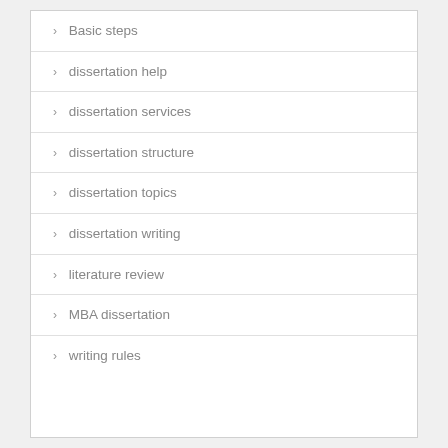Basic steps
dissertation help
dissertation services
dissertation structure
dissertation topics
dissertation writing
literature review
MBA dissertation
writing rules